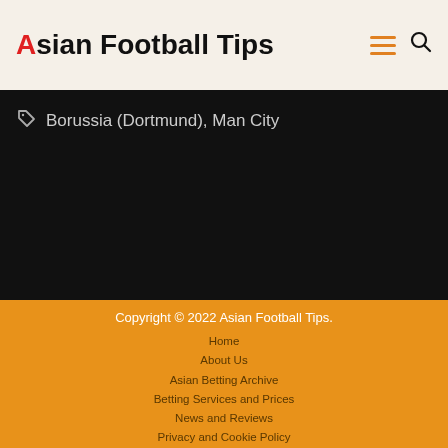Asian Football Tips
Borussia (Dortmund), Man City
Copyright © 2022 Asian Football Tips.
Home
About Us
Asian Betting Archive
Betting Services and Prices
News and Reviews
Privacy and Cookie Policy
Terms and Conditions
Contact Us